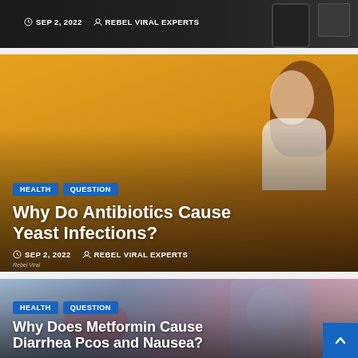[Figure (photo): Partial view of a dark/black background card showing a previous article with date and author metadata. SEP 2, 2022 and REBEL VIRAL EXPERTS visible.]
SEP 2, 2022   REBEL VIRAL EXPERTS
[Figure (photo): Article card with orange background showing a woman with an excited expression. Tagged HEALTH and QUESTION. Title: Why Do Antibiotics Cause Yeast Infections? Date: SEP 2, 2022. Author: REBEL VIRAL EXPERTS. Rebel Viral watermark at bottom left.]
HEALTH  QUESTION
Why Do Antibiotics Cause Yeast Infections?
SEP 2, 2022   REBEL VIRAL EXPERTS
Rebel Viral
[Figure (photo): Article card with blurred purplish-blue background of a person holding their stomach. Tagged HEALTH and QUESTION. Title (partial): Why Does Metformin Cause Diarrhea Pcos and Nausea?]
HEALTH  QUESTION
Why Does Metformin Cause Diarrhea Pcos and Nausea?